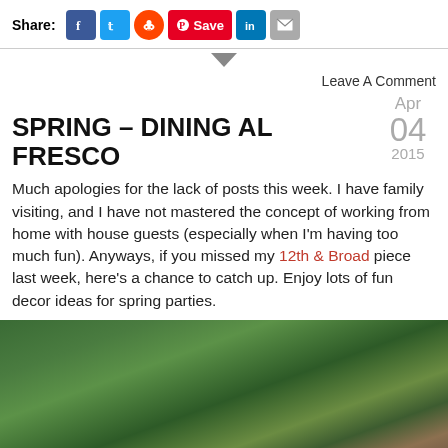Share: [Facebook] [Twitter] [Reddit] [Pinterest Save] [LinkedIn] [Email]
Leave A Comment
SPRING – DINING AL FRESCO
Apr 04 2015
Much apologies for the lack of posts this week. I have family visiting, and I have not mastered the concept of working from home with house guests (especially when I'm having too much fun). Anyways, if you missed my 12th & Broad piece last week, here's a chance to catch up. Enjoy lots of fun decor ideas for spring parties.
[Figure (photo): Outdoor garden scene with dense green hedge/bushes and some warm-toned tones in the background, suggesting an outdoor dining setting.]